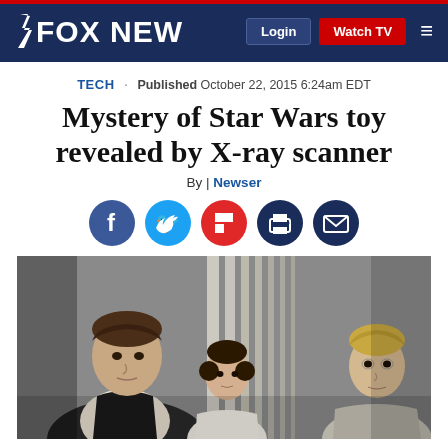FOX NEWS | Login | Watch TV
TECH · Published October 22, 2015 6:24am EDT
Mystery of Star Wars toy revealed by X-ray scanner
By | Newser
[Figure (other): Social sharing buttons: Facebook, Twitter, Flipboard, Print, Email]
[Figure (photo): Star Wars characters Han Solo, Princess Leia, and Luke Skywalker in a scene from the film]